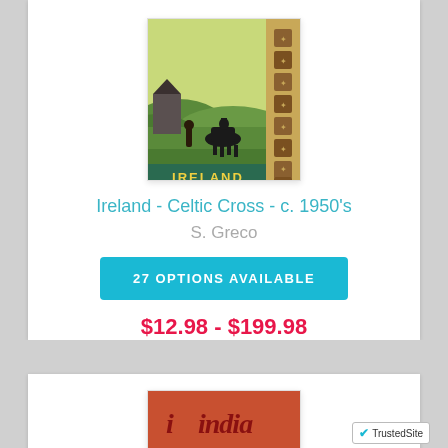[Figure (illustration): Ireland Celtic Cross vintage travel poster from c.1950s showing green countryside with horse and rider, figures, and decorative Celtic cross border. Text 'IRELAND' at bottom.]
Ireland - Celtic Cross - c. 1950's
S. Greco
27 OPTIONS AVAILABLE
$12.98 - $199.98
[Figure (illustration): India travel poster partially visible, showing 'india' text in decorative lettering on reddish background.]
[Figure (logo): TrustedSite badge with checkmark icon and 'TrustedSite' text.]